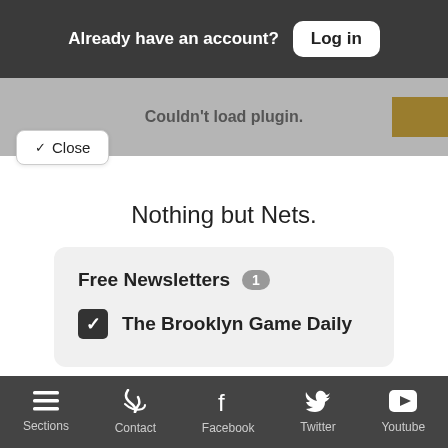Already have an account? Log in
Couldn't load plugin.
✓ Close
Nothing but Nets.
Free Newsletters 1
The Brooklyn Game Daily
Enter your email
Sections  Contact  Facebook  Twitter  Youtube